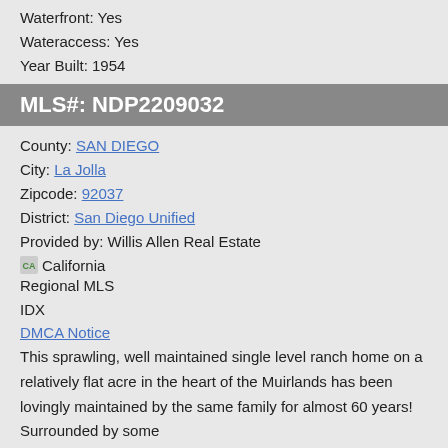Waterfront: Yes
Wateraccess: Yes
Year Built: 1954
MLS#: NDP2209032
County: SAN DIEGO
City: La Jolla
Zipcode: 92037
District: San Diego Unified
Provided by: Willis Allen Real Estate
[Figure (logo): California Regional MLS IDX logo icon]
Regional MLS
IDX
DMCA Notice
This sprawling, well maintained single level ranch home on a relatively flat acre in the heart of the Muirlands has been lovingly maintained by the same family for almost 60 years! Surrounded by some
Listing Details and 45 Additional Pictures
Request more information about this listing.